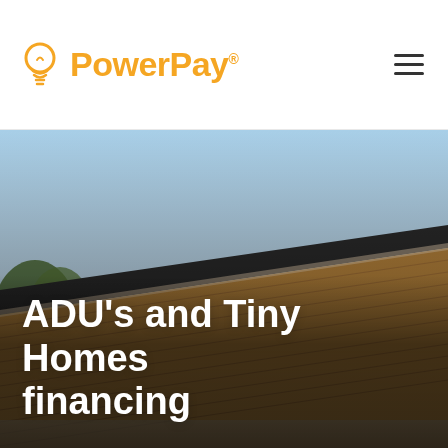[Figure (logo): PowerPay logo with orange lightbulb icon and orange bold text 'PowerPay' with registered trademark symbol]
[Figure (photo): Hero photograph of a modern ADU or tiny home exterior with wood-paneled walls and a flat roof under a blue sky with trees visible]
ADU's and Tiny Homes financing